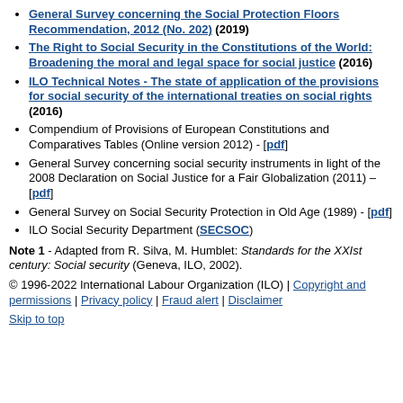General Survey concerning the Social Protection Floors Recommendation, 2012 (No. 202) (2019)
The Right to Social Security in the Constitutions of the World: Broadening the moral and legal space for social justice (2016)
ILO Technical Notes - The state of application of the provisions for social security of the international treaties on social rights (2016)
Compendium of Provisions of European Constitutions and Comparatives Tables (Online version 2012) - [pdf]
General Survey concerning social security instruments in light of the 2008 Declaration on Social Justice for a Fair Globalization (2011) – [pdf]
General Survey on Social Security Protection in Old Age (1989) - [pdf]
ILO Social Security Department (SECSOC)
Note 1 - Adapted from R. Silva, M. Humblet: Standards for the XXIst century: Social security (Geneva, ILO, 2002).
© 1996-2022 International Labour Organization (ILO) | Copyright and permissions | Privacy policy | Fraud alert | Disclaimer
Skip to top